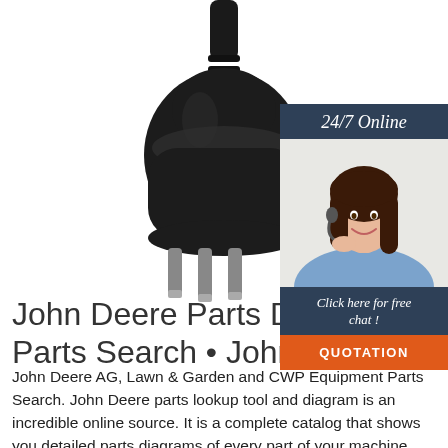[Figure (photo): Black electrical power plug (3-pin AU/CN type) with cable on white background]
[Figure (infographic): Customer service sidebar widget with '24/7 Online' header, photo of smiling woman with headset, 'Click here for free chat!' text, and orange QUOTATION button]
John Deere Parts Diagra... Parts Search • John Dee...
John Deere AG, Lawn & Garden and CWP Equipment Parts Search. John Deere parts lookup tool and diagram is an incredible online source. It is a complete catalog that shows you detailed parts diagrams of every part of your machine. This online parts catalog is robust and ...